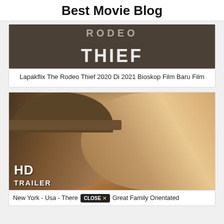Best Movie Blog
[Figure (photo): Movie poster for The Rodeo Thief showing title text with dark western background]
Lapakflix The Rodeo Thief 2020 Di 2021 Bioskop Film Baru Film
[Figure (photo): Movie trailer thumbnail showing a man in cowboy hat and a blonde woman, with HD TRAILER watermark overlay]
New York - Usa - There [CLOSE X] Great Family Orientated